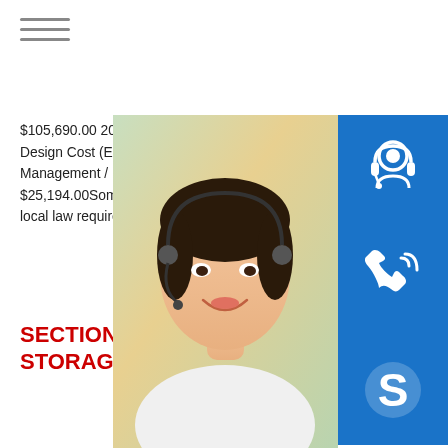[Figure (other): Hamburger/menu icon with three horizontal lines]
$105,690.00 20 19,500 $7.50 $146,250. Design Cost (Estimate 10%) $25,194.00 Management / Inspection Cost (Estimate $25,194.00Some results are removed in local law requirement.For more informati
SECTION 33 16 13 GROUND STORAGE TANKS
[Figure (photo): Asian woman with headset smiling, customer service representative photo]
[Figure (other): Blue icon box with customer service/headset icon]
[Figure (other): Blue icon box with phone/call icon]
[Figure (other): Blue icon box with Skype icon]
MANUAL SE QUOTING O Email: bsteel1@163.com
[Figure (photo): Large warehouse interior with steel plates stacked on green floor, industrial steel storage facility]